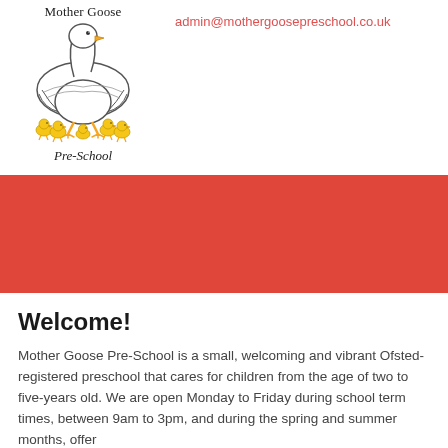[Figure (illustration): Mother Goose Pre-School logo: a mother goose with several ducklings, hand-drawn style illustration]
admin@mothergoosepreschool.co.uk
[Figure (other): Red/coral coloured horizontal banner strip]
Welcome!
Mother Goose Pre-School is a small, welcoming and vibrant Ofsted-registered preschool that cares for children from the age of two to five-years old. We are open Monday to Friday during school term times, between 9am to 3pm, and during the spring and summer months, offer